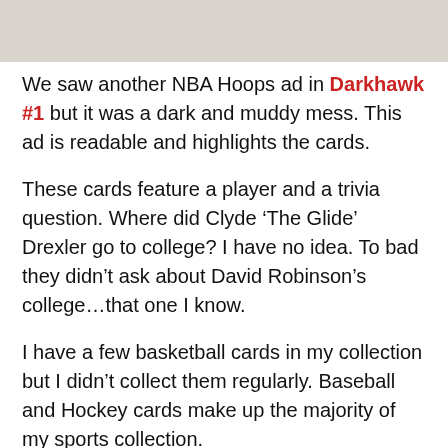[Figure (photo): A partial image strip at the top of the page, showing what appears to be a scan of a comic book advertisement or card image, grayish-tan in color.]
We saw another NBA Hoops ad in Darkhawk #1 but it was a dark and muddy mess. This ad is readable and highlights the cards.
These cards feature a player and a trivia question. Where did Clyde ‘The Glide’ Drexler go to college? I have no idea. To bad they didn’t ask about David Robinson’s college…that one I know.
I have a few basketball cards in my collection but I didn’t collect them regularly. Baseball and Hockey cards make up the majority of my sports collection.
The nice thing about this ad is they are willing give you the answers to the questions. Remember